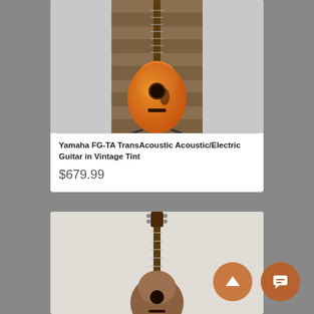[Figure (photo): Yamaha FG-TA TransAcoustic acoustic/electric guitar in vintage tint, displayed on a guitar stand against a rustic wooden plank wall background]
Yamaha FG-TA TransAcoustic Acoustic/Electric Guitar in Vintage Tint
$679.99
[Figure (photo): Second guitar product photo showing a darker acoustic guitar displayed on a stand, with orange circular floating action buttons overlaid (scroll-up arrow and chat icon)]